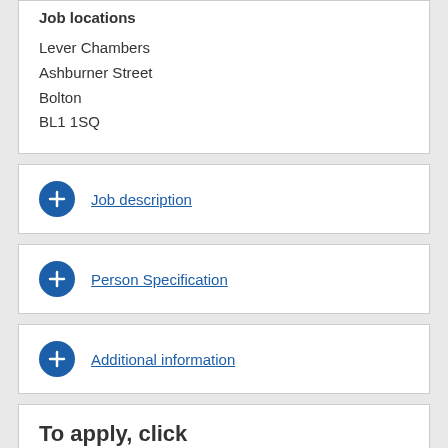Job locations
Lever Chambers
Ashburner Street
Bolton
BL1 1SQ
Job description
Person Specification
Additional information
To apply, click...